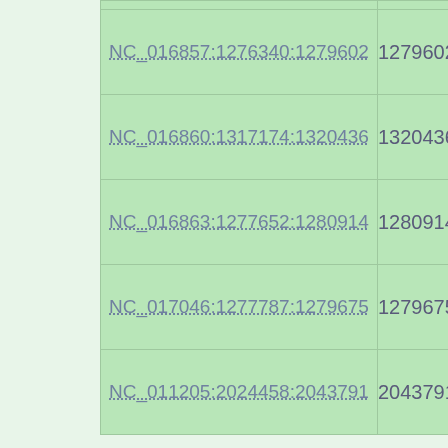| NC_016857:1276340:1279602 | 1279602 | 1280063 | 462 |
| NC_016860:1317174:1320436 | 1320436 | 1320897 | 462 |
| NC_016863:1277652:1280914 | 1280914 | 1281375 | 462 |
| NC_017046:1277787:1279675 | 1279675 | 1280136 | 462 |
| NC_011205:2024458:2043791 | 2043791 | 2044252 | 462 |